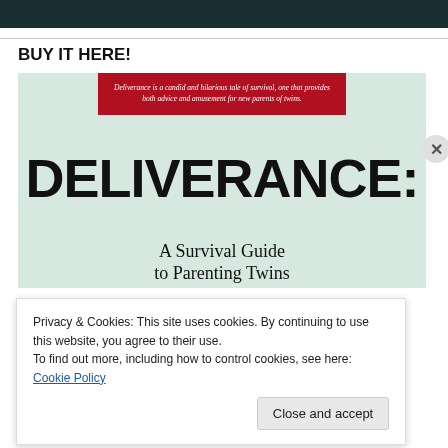[Figure (photo): Dark green/teal banner at top of page]
BUY IT HERE!
[Figure (illustration): Book cover for 'Deliverance: A Survival Guide to Parenting Twins' on a pale green background with red banner at top showing italic quote text, large bold black title text DELIVERANCE: and subtitle A Survival Guide to Parenting Twins]
Privacy & Cookies: This site uses cookies. By continuing to use this website, you agree to their use.
To find out more, including how to control cookies, see here: Cookie Policy
Close and accept